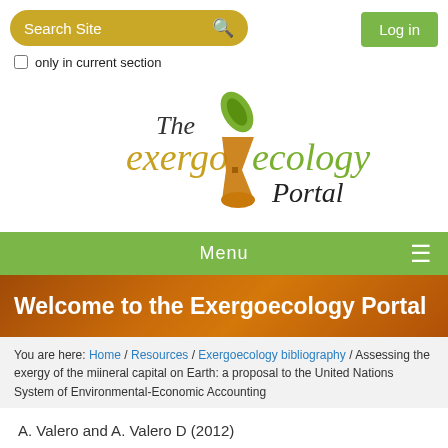[Figure (screenshot): Search Site input box with magnifying glass icon, olive/gold color, rounded rectangle]
[Figure (screenshot): Log in button, green background, top right]
only in current section
[Figure (logo): The exergo ecology Portal logo with leaf and hourglass graphic]
Menu
Welcome to the Exergoecology Portal
You are here: Home / Resources / Exergoecology bibliography / Assessing the exergy of the miineral capital on Earth: a proposal to the United Nations System of Environmental-Economic Accounting
A. Valero and A. Valero D (2012)
Assessing the exergy of the